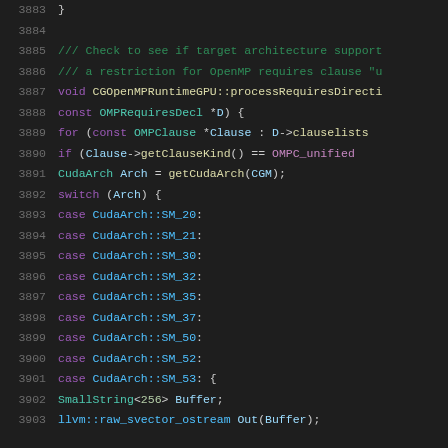Source code listing, lines 3883–3903, showing CGOpenMPRuntimeGPU::processRequiresDirective implementation with CUDA architecture switch cases